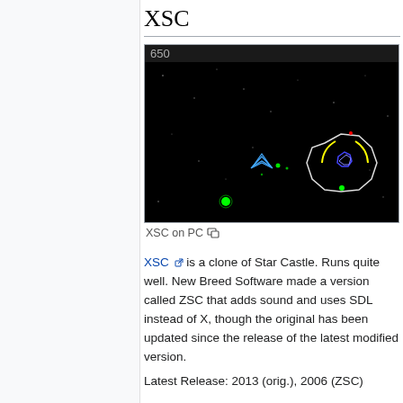XSC
[Figure (screenshot): XSC game screenshot on PC showing a space shooter game with score 650. Black background with a blue spaceship, green asteroids/objects, a white circular shield around a central enemy, with red, yellow and blue details on the enemy. Small white dots represent stars.]
XSC on PC
XSC is a clone of Star Castle. Runs quite well. New Breed Software made a version called ZSC that adds sound and uses SDL instead of X, though the original has been updated since the release of the latest modified version.
Latest Release: 2013 (orig.), 2006 (ZSC)